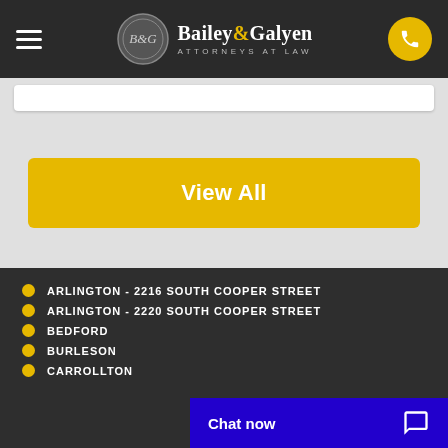Bailey & Galyen Attorneys at Law
[Figure (screenshot): Search bar area]
View All
ARLINGTON - 2216 SOUTH COOPER STREET
ARLINGTON - 2220 SOUTH COOPER STREET
BEDFORD
BURLESON
CARROLLTON
Chat now